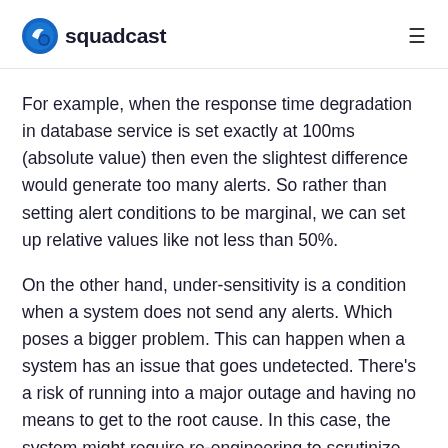squadcast
For example, when the response time degradation in database service is set exactly at 100ms (absolute value) then even the slightest difference would generate too many alerts. So rather than setting alert conditions to be marginal, we can set up relative values like not less than 50%.
On the other hand, under-sensitivity is a condition when a system does not send any alerts. Which poses a bigger problem. This can happen when a system has an issue that goes undetected. There's a risk of running into a major outage and having no means to get to the root cause. In this case, the system might require re-engineering to scrutinize